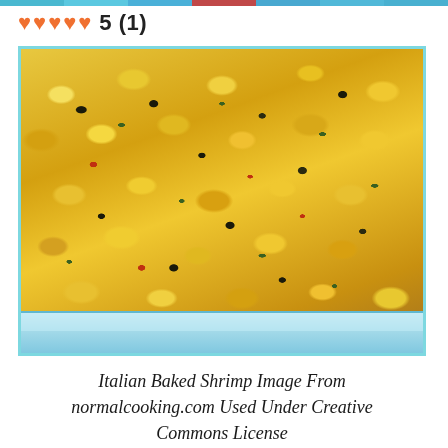colored navigation bar
♥♥♥♥♥ 5 (1)
[Figure (photo): A glass baking dish filled with Italian baked shrimp covered in golden crispy breadcrumb topping with black pepper, green herb flecks, and red pepper bits, shot close-up from above at an angle]
Italian Baked Shrimp Image From normalcooking.com Used Under Creative Commons License